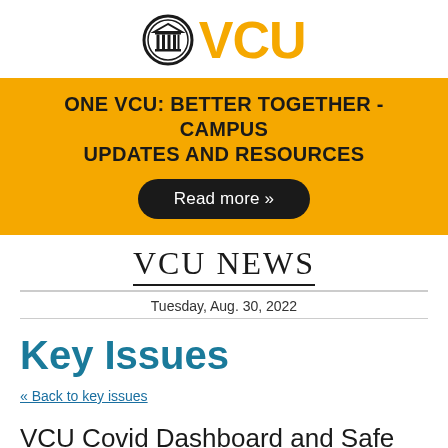[Figure (logo): VCU logo with a building/columns icon in a circle followed by bold gold 'VCU' text]
[Figure (infographic): Gold banner with bold black text 'ONE VCU: BETTER TOGETHER - CAMPUS UPDATES AND RESOURCES' and a black rounded button 'Read more »']
VCU NEWS
Tuesday, Aug. 30, 2022
Key Issues
« Back to key issues
VCU Covid Dashboard and Safe Behavior